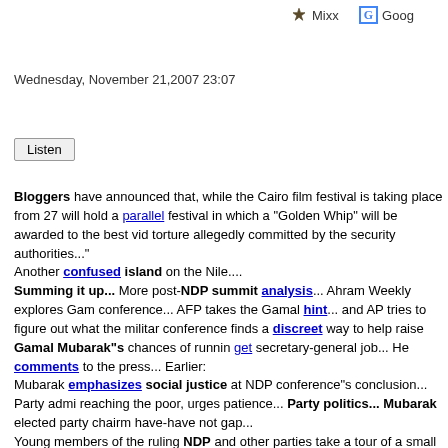Mixx   Goog
Wednesday, November 21,2007 23:07
Listen
Bloggers have announced that, while the Cairo film festival is taking place from 27 will hold a parallel festival in which a "Golden Whip" will be awarded to the best vid torture allegedly committed by the security authorities... Another confused island on the Nile.... Summing it up... More post-NDP summit analysis... Ahram Weekly explores Gam conference... AFP takes the Gamal hint... and AP tries to figure out what the militar conference finds a discreet way to help raise Gamal Mubarak"s chances of runnin get secretary-general job... He comments to the press... Earlier: Mubarak emphasizes social justice at NDP conference"s conclusion... Party admi reaching the poor, urges patience... Party politics... Mubarak elected party chairm have-have not gap... Young members of the ruling NDP and other parties take a tour of a small West Virg about local media and politics... Brotherhood leaders barred from traveling... Brotherhood members arrested... Ea brotherhood"s platform... Earlier: CS Monitor critical of Muslim brotherhood platf reactions ...Meanwhile, brotherhood prayer meeting broken up by the police...